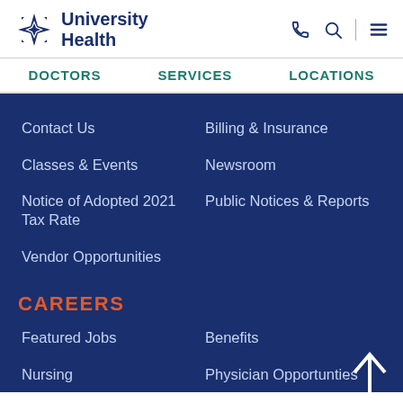[Figure (logo): University Health logo with star/snowflake icon and bold text 'University Health']
DOCTORS
SERVICES
LOCATIONS
Contact Us
Billing & Insurance
Classes & Events
Newsroom
Notice of Adopted 2021 Tax Rate
Public Notices & Reports
Vendor Opportunities
CAREERS
Featured Jobs
Benefits
Nursing
Physician Opportunties